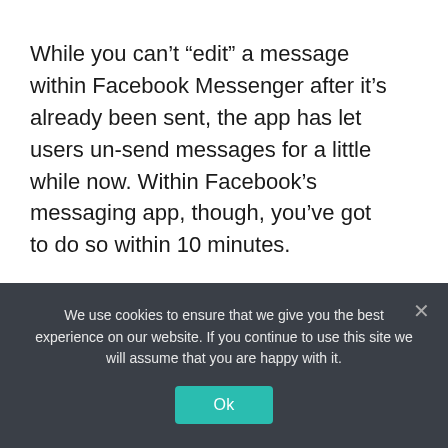While you can’t “edit” a message within Facebook Messenger after it’s already been sent, the app has let users un-send messages for a little while now. Within Facebook’s messaging app, though, you’ve got to do so within 10 minutes.
Apple, as noted above, is giving users a little longer to do so — 15 minutes.
All in all, I think these new Apple Messages app features coming with the arrival of iOS
We use cookies to ensure that we give you the best experience on our website. If you continue to use this site we will assume that you are happy with it.